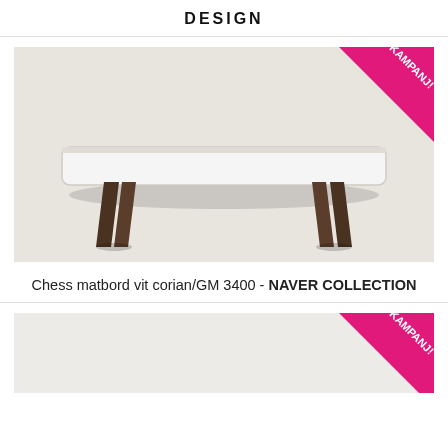DESIGN
[Figure (photo): Chess matbord vit corian/GM 3400 dining table with white corian top and dark brown angled wooden legs on beige background. KAMPANJ! badge in top right corner.]
Chess matbord vit corian/GM 3400 - NAVER COLLECTION
[Figure (photo): Partial view of another product with KAMPANJ! badge in top right corner. Light grey background, product partially visible at bottom of page.]